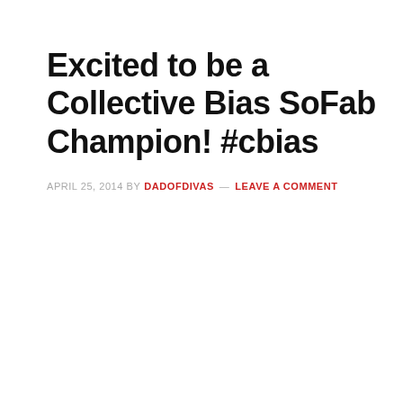Excited to be a Collective Bias SoFab Champion! #cbias
APRIL 25, 2014 BY DADOFDIVAS — LEAVE A COMMENT